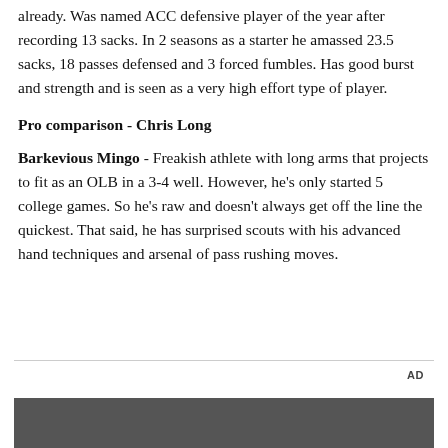already. Was named ACC defensive player of the year after recording 13 sacks. In 2 seasons as a starter he amassed 23.5 sacks, 18 passes defensed and 3 forced fumbles. Has good burst and strength and is seen as a very high effort type of player.
Pro comparison - Chris Long
Barkevious Mingo - Freakish athlete with long arms that projects to fit as an OLB in a 3-4 well. However, he's only started 5 college games. So he's raw and doesn't always get off the line the quickest. That said, he has surprised scouts with his advanced hand techniques and arsenal of pass rushing moves.
[Figure (other): Advertisement box with AD label and image strip at bottom]